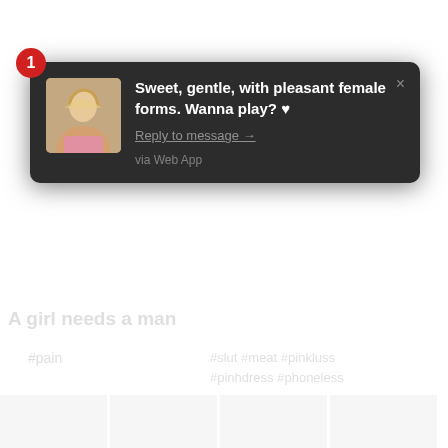[Figure (screenshot): A dark-themed desktop notification popup showing a message with a profile photo of a blonde woman, bold white text reading 'Sweet, gentle, with pleasant female forms. Wanna play? ♥', a 'Reply to message →' link in grey underlined text, and 'via Web App' in smaller grey text. A red circle badge with the number 1 appears in the top-left corner. A close (×) button is in the top-right corner.]